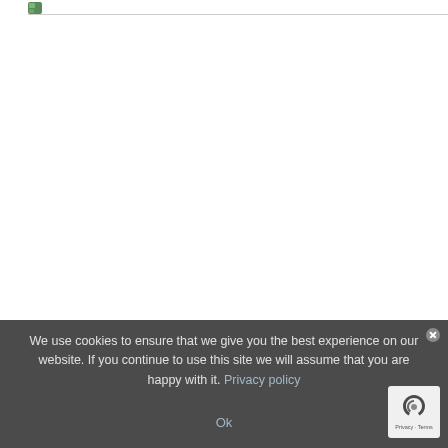[Figure (logo): Small green leaf/page icon logo in top left corner]
We use cookies to ensure that we give you the best experience on our website. If you continue to use this site we will assume that you are happy with it. Privacy policy
Ok